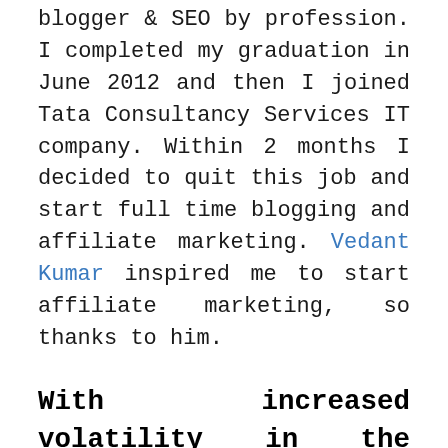blogger & SEO by profession. I completed my graduation in June 2012 and then I joined Tata Consultancy Services IT company. Within 2 months I decided to quit this job and start full time blogging and affiliate marketing. Vedant Kumar inspired me to start affiliate marketing, so thanks to him.
With increased volatility in the search engine landscape, how do you see SEO future shape up in the time to come? Does it still remain competitive